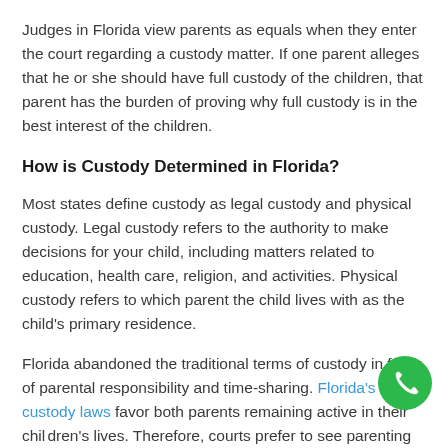Judges in Florida view parents as equals when they enter the court regarding a custody matter. If one parent alleges that he or she should have full custody of the children, that parent has the burden of proving why full custody is in the best interest of the children.
How is Custody Determined in Florida?
Most states define custody as legal custody and physical custody. Legal custody refers to the authority to make decisions for your child, including matters related to education, health care, religion, and activities. Physical custody refers to which parent the child lives with as the child's primary residence.
Florida abandoned the traditional terms of custody in favor of parental responsibility and time-sharing. Florida's custody laws favor both parents remaining active in their children's lives. Therefore, courts prefer to see parenting plans and time-sharing plans that provide equal access for the child